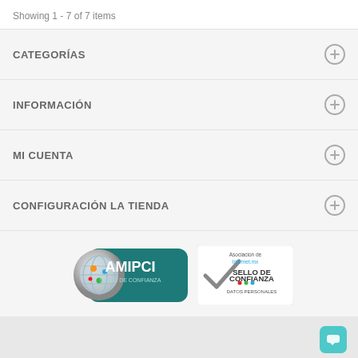Showing 1 - 7 of 7 items
CATEGORÍAS
INFORMACIÓN
MI CUENTA
CONFIGURACIÓN LA TIENDA
[Figure (logo): AMIPCI Sello de Confianza badge and Asociación de Internet.mx Sello de Confianza Datos Personales badge]